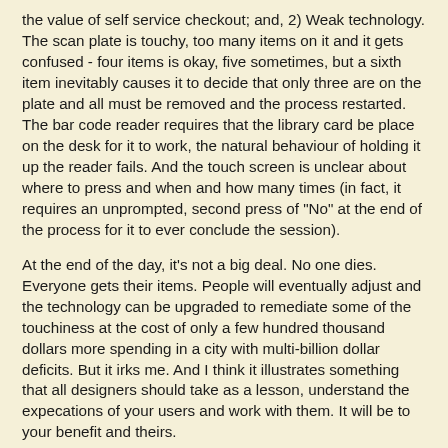the value of self service checkout; and, 2) Weak technology. The scan plate is touchy, too many items on it and it gets confused - four items is okay, five sometimes, but a sixth item inevitably causes it to decide that only three are on the plate and all must be removed and the process restarted. The bar code reader requires that the library card be place on the desk for it to work, the natural behaviour of holding it up the reader fails. And the touch screen is unclear about where to press and when and how many times (in fact, it requires an unprompted, second press of "No" at the end of the process for it to ever conclude the session).
At the end of the day, it's not a big deal. No one dies. Everyone gets their items. People will eventually adjust and the technology can be upgraded to remediate some of the touchiness at the cost of only a few hundred thousand dollars more spending in a city with multi-billion dollar deficits. But it irks me. And I think it illustrates something that all designers should take as a lesson, understand the expecations of your users and work with them. It will be to your benefit and theirs.